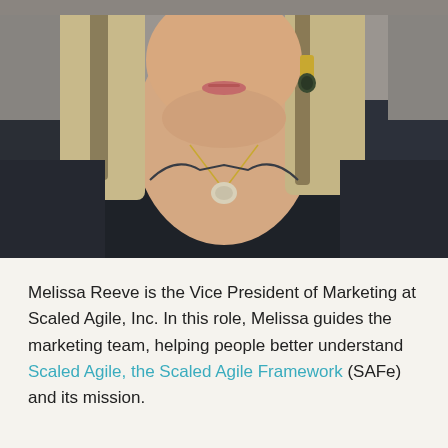[Figure (photo): Close-up photo of a woman with blonde/grey streaked hair, wearing a dark jacket, gold earrings, and a necklace with a pendant. The photo is cropped at the shoulders and shows her from approximately the chin down to the chest level.]
Melissa Reeve is the Vice President of Marketing at Scaled Agile, Inc. In this role, Melissa guides the marketing team, helping people better understand Scaled Agile, the Scaled Agile Framework (SAFe) and its mission.